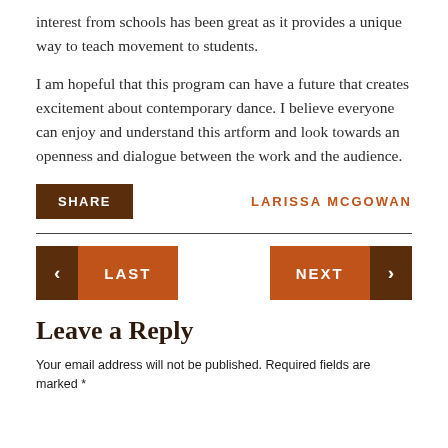interest from schools has been great as it provides a unique way to teach movement to students.
I am hopeful that this program can have a future that creates excitement about contemporary dance. I believe everyone can enjoy and understand this artform and look towards an openness and dialogue between the work and the audience.
SHARE
LARISSA MCGOWAN
< LAST
NEXT >
Leave a Reply
Your email address will not be published. Required fields are marked *